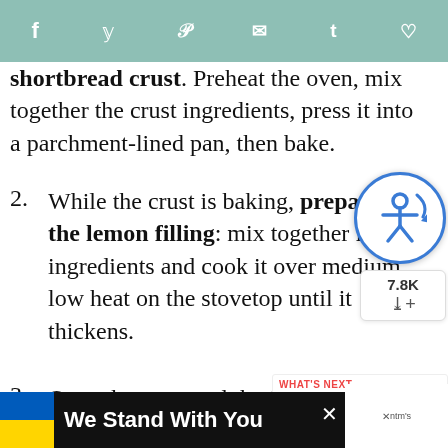Social share bar with icons: facebook, twitter, pinterest, email, tumblr, heart
shortbread crust. Preheat the oven, mix together the crust ingredients, press it into a parchment-lined pan, then bake.
2. While the crust is baking, prepare the lemon filling: mix together filling ingredients and cook it over medium low heat on the stovetop until it thickens.
3. Once the crust and the filling cooled for about 35 minutes, scoop the filling onto the crust the...